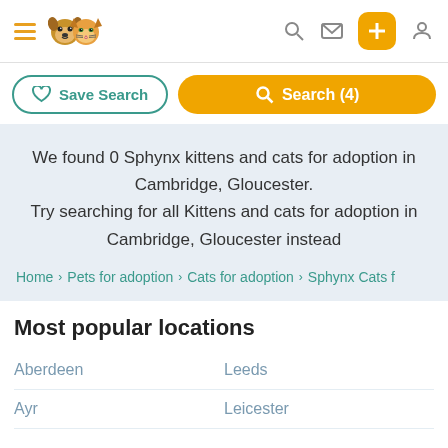Navigation header with hamburger menu, pet logo, search icon, mail icon, plus button, and user icon
Save Search | Search (4)
We found 0 Sphynx kittens and cats for adoption in Cambridge, Gloucester.
Try searching for all Kittens and cats for adoption in Cambridge, Gloucester instead
Home > Pets for adoption > Cats for adoption > Sphynx Cats f
Most popular locations
Aberdeen
Leeds
Ayr
Leicester